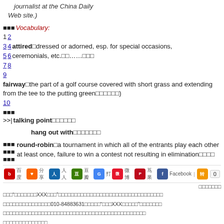journalist at the China Daily Web site.)
Vocabulary:
1 2
3 4 attired dressed or adorned, esp. for special occasions, ceremonials, etc. ……
7 8
9 fairway the part of a golf course covered with short grass and extending from the tee to the putting green
talking point
hang out with
round-robin a tournament in which all of the entrants play each other at least once, failure to win a contest not resulting in elimination
Social sharing bar with icons for Baidu, QQ, Renren, Douban, Google, Weibo, Pinterest, Facebook, and share count 0
Chinese footer text with contact 010-84883631 and XXX reference